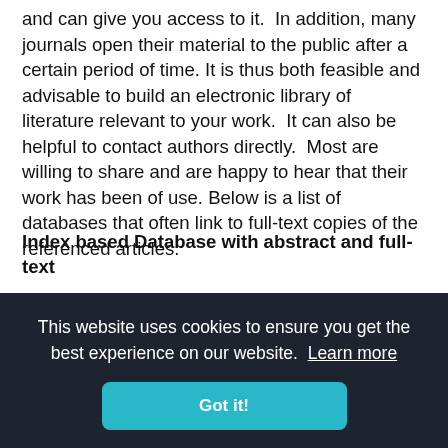and can give you access to it. In addition, many journals open their material to the public after a certain period of time. It is thus both feasible and advisable to build an electronic library of literature relevant to your work.  It can also be helpful to contact authors directly.  Most are willing to share and are happy to hear that their work has been of use. Below is a list of databases that often link to full-text copies of the referenced articles.
Index based Database with abstract and full-text
o PubMed(free): a powerful database in the area
y is a
disciplines.
This website uses cookies to ensure you get the best experience on our website.  Learn more
Got it!